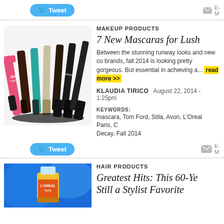Tweet  E- M
MAKEUP PRODUCTS
7 New Mascaras for Lush
Between the stunning runway looks and new co brands, fall 2014 is looking pretty gorgeous. But essential in achieving a... read more >>
KLAUDIA TIRICO   August 22, 2014 - 1:25pm
KEYWORDS:
mascara, Tom Ford, Stila, Avon, L'Oreal Paris, C Decay, Fall 2014
HAIR PRODUCTS
Greatest Hits: This 60-Ye Still a Stylist Favorite